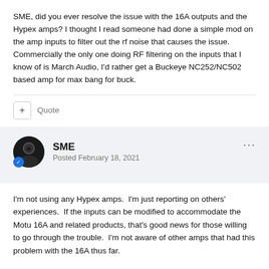SME, did you ever resolve the issue with the 16A outputs and the Hypex amps? I thought I read someone had done a simple mod on the amp inputs to filter out the rf noise that causes the issue. Commercially the only one doing RF filtering on the inputs that I know of is March Audio, I'd rather get a Buckeye NC252/NC502 based amp for max bang for buck.
+ Quote
SME
Posted February 18, 2021
I'm not using any Hypex amps.  I'm just reporting on others' experiences.  If the inputs can be modified to accommodate the Motu 16A and related products, that's good news for those willing to go through the trouble.  I'm not aware of other amps that had this problem with the 16A thus far.